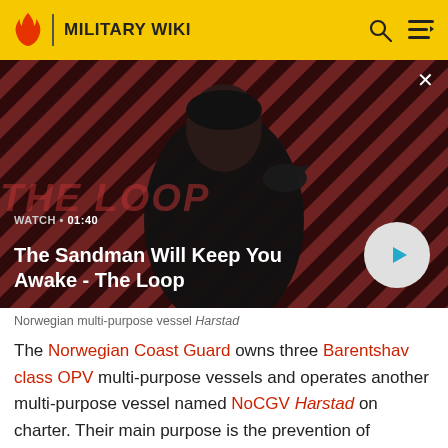MILITARY WIKI
[Figure (screenshot): Video thumbnail showing a dark figure with a raven on their shoulder against a red and dark diagonal striped background. Text overlay: WATCH • 01:40 / The Sandman Will Keep You Awake - The Loop. A play button circle is on the right.]
Norwegian multi-purpose vessel Harstad
The Norwegian Coast Guard owns three Barentshav class OPV multi-purpose vessels and operates another multi-purpose vessel named NoCGV Harstad on charter. Their main purpose is the prevention of pollution by oil tankers